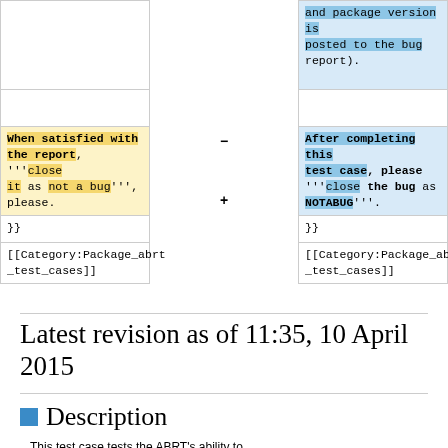| (left) | (right) |
| --- | --- |
| and package version is posted to the bug report). | (blue cell content) |
| (empty yellow) | (empty blue) |
| When satisfied with the report, '''close it as not a bug''', please. | After completing this test case, please '''close the bug as NOTABUG'''. |
| }} | }} |
| [[Category:Package_abrt_test_cases]] | [[Category:Package_abrt_test_cases]] |
Latest revision as of 11:35, 10 April 2015
Description
This test case tests the ABRT's ability to...